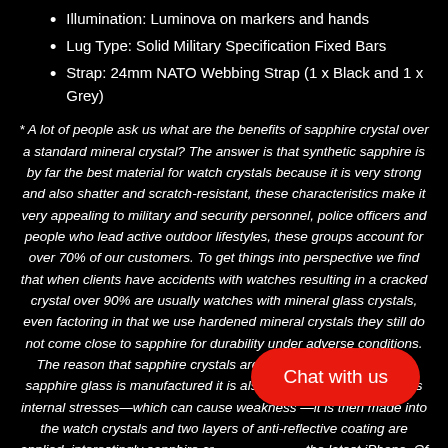Illumination: Luminova on markers and hands
Lug Type: Solid Military Specification Fixed Bars
Strap: 24mm NATO Webbing Strap (1 x Black and 1 x Grey)
* A lot of people ask us what are the benefits of sapphire crystal over a standard mineral crystal? The answer is that synthetic sapphire is by far the best material for watch crystals because it is very strong and also shatter and scratch-resistant, these characteristics make it very appealing to military and security personnel, police officers and people who lead active outdoor lifestyles, these groups account for over 70% of our customers. To get things into perspective we find that when clients have accidents with watches resulting in a cracked crystal over 90% are usually watches with mineral glass crystals, even factoring in that we use hardened mineral crystals they still do not come close to sapphire for durability under adverse conditions. The reason that sapphire crystals are so strong is that after the sapphire glass is manufactured it is also heat-treated to remove its internal stresses—which can cause weakness—it is then made into the watch crystals and two layers of anti-reflective coating are applied, interestingly sapphire cr... the latest iPhone. Of course, sapphire crystal co... you find that it's normally only fitted to higher end watches.
[Figure (other): Red oval button with text 'Chat with us']